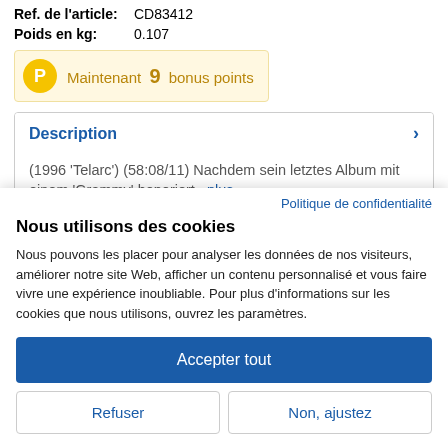Ref. de l'article: CD83412
Poids en kg: 0.107
Maintenant 9 bonus points
Description
(1996 'Telarc') (58:08/11) Nachdem sein letztes Album mit einem 'Grammy' honoriert...plus
Politique de confidentialité
Nous utilisons des cookies
Nous pouvons les placer pour analyser les données de nos visiteurs, améliorer notre site Web, afficher un contenu personnalisé et vous faire vivre une expérience inoubliable. Pour plus d'informations sur les cookies que nous utilisons, ouvrez les paramètres.
Accepter tout
Refuser
Non, ajustez